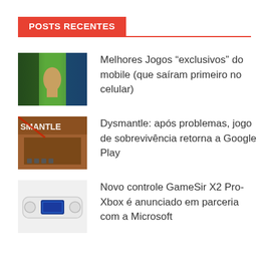POSTS RECENTES
Melhores Jogos “exclusivos” do mobile (que saíram primeiro no celular)
Dysmantle: após problemas, jogo de sobrevivência retorna a Google Play
Novo controle GameSir X2 Pro-Xbox é anunciado em parceria com a Microsoft